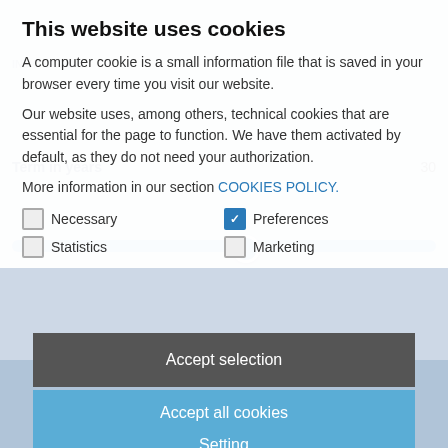This website uses cookies
A computer cookie is a small information file that is saved in your browser every time you visit our website.
Our website uses, among others, technical cookies that are essential for the page to function. We have them activated by default, as they do not need your authorization.
More information in our section COOKIES POLICY.
Necessary
Preferences
Statistics
Marketing
Accept selection
Accept all cookies
Setting